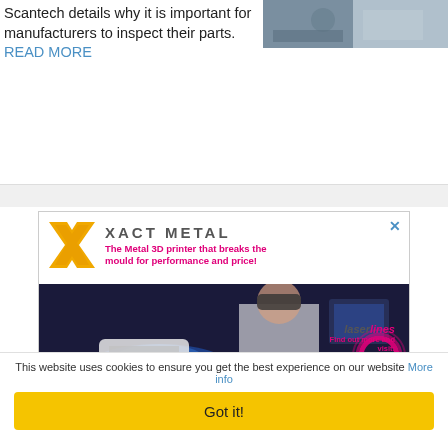Scantech details why it is important for manufacturers to inspect their parts. READ MORE
[Figure (photo): A photograph of manufacturing/inspection equipment, partially visible at top right]
[Figure (illustration): Xact Metal advertisement banner featuring the Xact Metal logo, tagline 'The Metal 3D printer that breaks the mould for performance and price!', and a photo of a person in a lab coat using a metal 3D printer. Laserlines branding with 'Find out more and visit: www.3dprinting.co.uk']
This website uses cookies to ensure you get the best experience on our website More info
Got it!